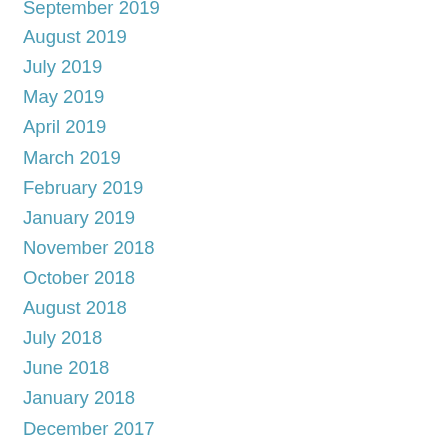September 2019
August 2019
July 2019
May 2019
April 2019
March 2019
February 2019
January 2019
November 2018
October 2018
August 2018
July 2018
June 2018
January 2018
December 2017
November 2017
October 2017
September 2017
August 2017